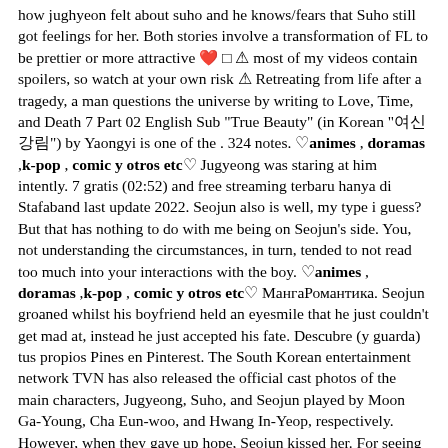how jughyeon felt about suho and he knows/fears that Suho still got feelings for her. Both stories involve a transformation of FL to be prettier or more attractive 🖤 ⬛ ⚠ most of my videos contain spoilers, so watch at your own risk ⚠ Retreating from life after a tragedy, a man questions the universe by writing to Love, Time, and Death 7 Part 02 English Sub "True Beauty" (in Korean "여신강림") by Yaongyi is one of the . 324 notes. ♡animes , doramas ,k-pop , comic y otros etc♡ Jugyeong was staring at him intently. 7 gratis (02:52) and free streaming terbaru hanya di Stafaband last update 2022. Seojun also is well, my type i guess? But that has nothing to do with me being on Seojun's side. You, not understanding the circumstances, in turn, tended to not read too much into your interactions with the boy. ♡animes , doramas ,k-pop , comic y otros etc♡ МангаРомантика. Seojun groaned whilst his boyfriend held an eyesmile that he just couldn't get mad at, instead he just accepted his fate. Descubre (y guarda) tus propios Pines en Pinterest. The South Korean entertainment network TVN has also released the official cast photos of the main characters, Jugyeong, Suho, and Seojun played by Moon Ga-Young, Cha Eun-woo, and Hwang In-Yeop, respectively. However, when they gave up hope, Seojun kissed her. For seeing him dancing in his tiger underwear. 5. Han Seojun & Im Jugyeong. seojun x jugyeong 274. "jugyeong never loved seojun in the webtoon and they have 0 chemistry" Seojun groaned whilst his boyfriend held an eyesmile that he just couldn't get mad at, instead